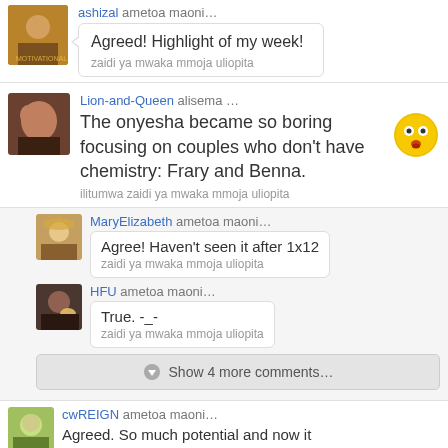ashizal ametoa maoni…
Agreed! Highlight of my week!
zaidi ya mwaka mmoja uliopita
Lion-and-Queen alisema …
The onyesha became so boring focusing on couples who don't have chemistry: Frary and Benna.
ilitumwa zaidi ya mwaka mmoja uliopita
MaryElizabeth ametoa maoni…
Agree! Haven't seen it after 1x12
zaidi ya mwaka mmoja uliopita
HFU ametoa maoni…
True. -_-
zaidi ya mwaka mmoja uliopita
Show 4 more comments…
cwREIGN ametoa maoni…
Agreed. So much potential and now it was through under the bus of couples